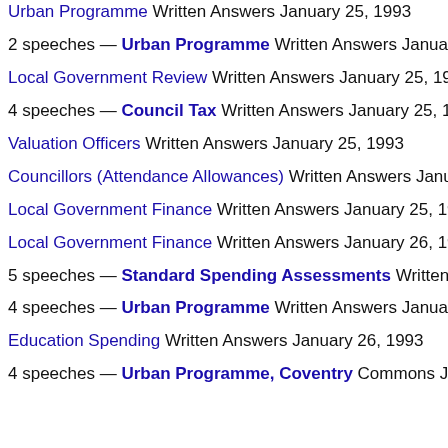Urban Programme Written Answers January 25, 1993 (clipped top)
2 speeches — Urban Programme Written Answers January 2…
Local Government Review Written Answers January 25, 1993
4 speeches — Council Tax Written Answers January 25, 1993
Valuation Officers Written Answers January 25, 1993
Councillors (Attendance Allowances) Written Answers January…
Local Government Finance Written Answers January 25, 1993
Local Government Finance Written Answers January 26, 1993
5 speeches — Standard Spending Assessments Written Ans…
4 speeches — Urban Programme Written Answers January 2…
Education Spending Written Answers January 26, 1993
4 speeches — Urban Programme, Coventry Commons Janu…